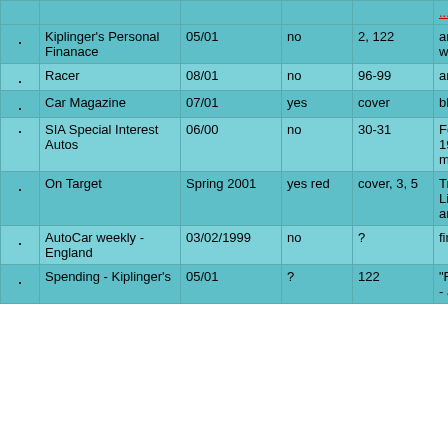|  | Publication | Date | Color | Pages | Description |
| --- | --- | --- | --- | --- | --- |
| . | Kiplinger's Personal Finanace | 05/01 | no | 2, 122 | article with pics 02 and white 55 |
| . | Racer | 08/01 | no | 96-99 | article with pics 02 |
| . | Car Magazine | 07/01 | yes | cover | blue topless on c |
| . | SIA Special Interest Autos | 06/00 | no | 30-31 | Ford Thunderbird Timeline 1955 - with photos of various models |
| . | On Target | Spring 2001 | yes red | cover, 3, 5 | Trade newsletter Ford, Lincoln, & Mercury wholesale and Collision Repair Industry |
| . | AutoCar weekly - England | 03/02/1999 | no | ? | first test of Thunderbird |
| . | Spending - Kiplinger's | 05/01 | ? | 122 | "Rearview Mirror" Ed Henry - article new Thunderbird |